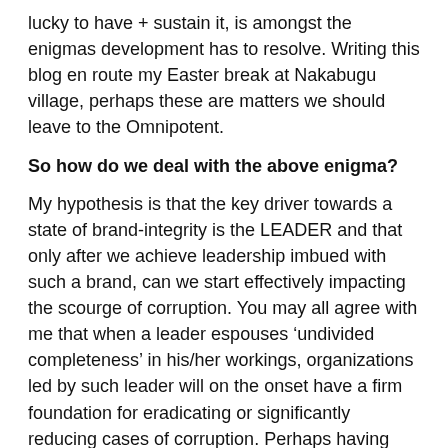lucky to have + sustain it, is amongst the enigmas development has to resolve. Writing this blog en route my Easter break at Nakabugu village, perhaps these are matters we should leave to the Omnipotent.
So how do we deal with the above enigma?
My hypothesis is that the key driver towards a state of brand-integrity is the LEADER and that only after we achieve leadership imbued with such a brand, can we start effectively impacting the scourge of corruption. You may all agree with me that when a leader espouses ‘undivided completeness’ in his/her workings, organizations led by such leader will on the onset have a firm foundation for eradicating or significantly reducing cases of corruption. Perhaps having such leadership pedigree move to the nation-state, could result in ground-shifting progress, and